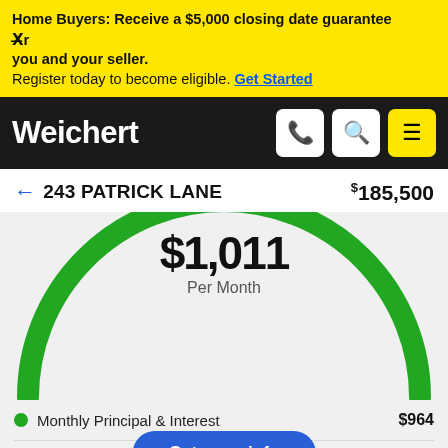Home Buyers: Receive a $5,000 closing date guarantee for you and your seller. Register today to become eligible. Get Started
[Figure (screenshot): Weichert website navigation bar with logo and icons for phone, search, and menu]
← 243 PATRICK LANE   $185,500
[Figure (infographic): Green semicircle gauge showing $1,011 Per Month mortgage estimate]
Monthly Principal & Interest   $964
Monthly Property [Tax]   $47
Monthly Home Insurance
Get more info